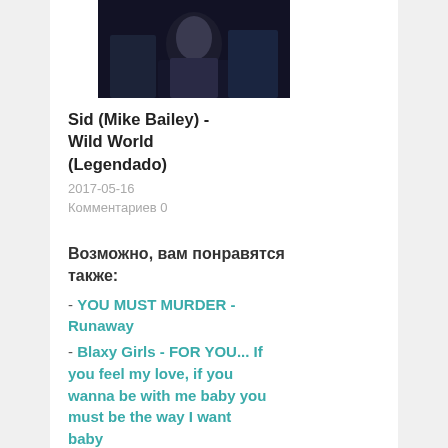[Figure (photo): Thumbnail image of a person in a dark setting, screenshot from a video]
Sid (Mike Bailey) - Wild World (Legendado)
2017-05-16
Комментариев 0
Возможно, вам понравятся также:
- YOU MUST MURDER - Runaway
- Blaxy Girls - FOR YOU... If you feel my love, if you wanna be with me baby you must be the way I want baby
- Bruno Mars - The Lazy Song [Official Video Version]